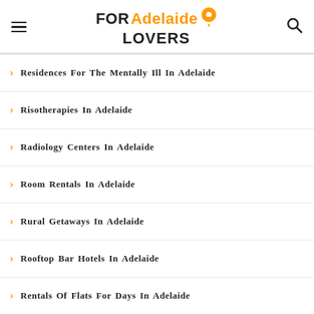FOR Adelaide LOVERS
Residences For The Mentally Ill In Adelaide
Risotherapies In Adelaide
Radiology Centers In Adelaide
Room Rentals In Adelaide
Rural Getaways In Adelaide
Rooftop Bar Hotels In Adelaide
Rentals Of Flats For Days In Adelaide
Rerun Theaters In Adelaide